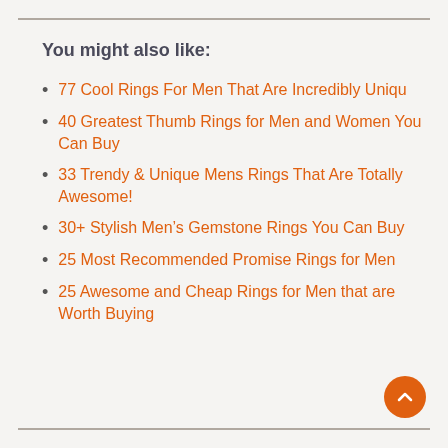You might also like:
77 Cool Rings For Men That Are Incredibly Uniqu
40 Greatest Thumb Rings for Men and Women You Can Buy
33 Trendy & Unique Mens Rings That Are Totally Awesome!
30+ Stylish Men’s Gemstone Rings You Can Buy
25 Most Recommended Promise Rings for Men
25 Awesome and Cheap Rings for Men that are Worth Buying